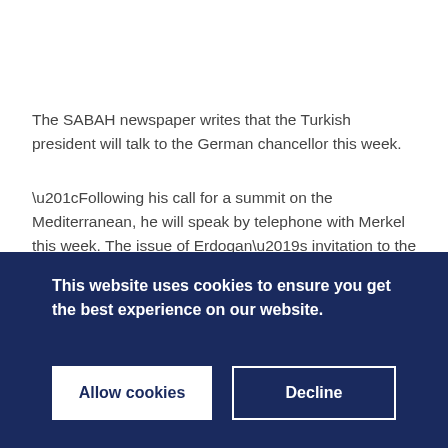The SABAH newspaper writes that the Turkish president will talk to the German chancellor this week.
“Following his call for a summit on the Mediterranean, he will speak by telephone with Merkel this week. The issue of Erdogan’s invitation to the Mediterranean countries with the statement “let’s find a formula that satisfies everyone” will be raised in the telephone conversation, as well as the attitude of Greece”, the media outlet writes.
This website uses cookies to ensure you get the best experience on our website.